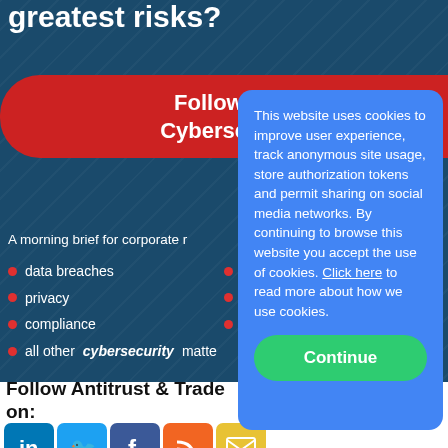greatest risks?
Follow JD Supra's Cybersecurity channel
A morning brief for corporate r...
data breaches
security
privacy
risk management
compliance
global regulation
all other cybersecurity matters
[Figure (screenshot): Cookie consent overlay popup on blue background with Continue button]
This website uses cookies to improve user experience, track anonymous site usage, store authorization tokens and permit sharing on social media networks. By continuing to browse this website you accept the use of cookies. Click here to read more about how we use cookies.
Follow Antitrust & Trade on:
[Figure (infographic): Social media icons: LinkedIn, Twitter, Facebook, RSS, Email]